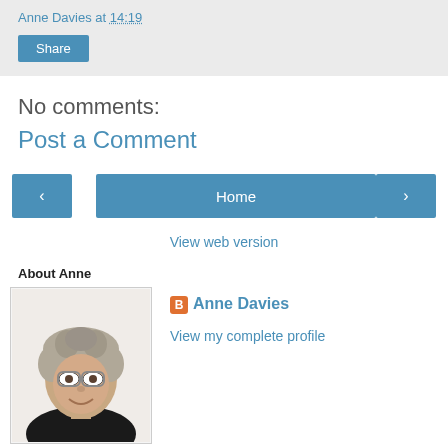Anne Davies at 14:19
Share
No comments:
Post a Comment
‹
Home
›
View web version
About Anne
[Figure (photo): Profile photo of Anne Davies, a woman with curly grey hair and glasses, smiling, wearing a dark jacket]
Anne Davies
View my complete profile
Powered by Blogger.